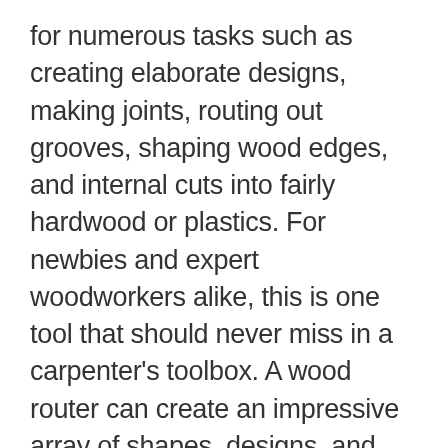for numerous tasks such as creating elaborate designs, making joints, routing out grooves, shaping wood edges, and internal cuts into fairly hardwood or plastics. For newbies and expert woodworkers alike, this is one tool that should never miss in a carpenter's toolbox. A wood router can create an impressive array of shapes, designs, and indentations on your favorite furniture.
However, before making this essential purchase, you need to research widely on types of routers, features, how they work, the various brands, etc. Do your homework well enough to ensure that you make an informed decision and avoid making